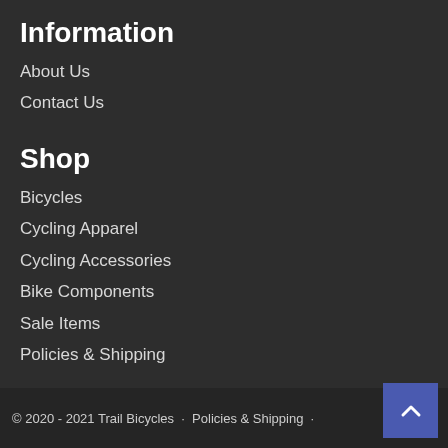Information
About Us
Contact Us
Shop
Bicycles
Cycling Apparel
Cycling Accessories
Bike Components
Sale Items
Policies & Shipping
© 2020 - 2021 Trail Bicycles  ·  Policies & Shipping  ·